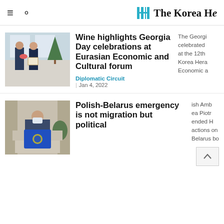The Korea He[rald]
[Figure (photo): Two men in suits, one holding flowers and a framed certificate, standing in front of a Christmas tree]
Wine highlights Georgia Day celebrations at Eurasian Economic and Cultural forum
The Georgi[an wine was] celebrated [prominently] at the 12th [annual] Korea Hera[ld] Economic a[nd Cultural Forum]
Diplomatic Circuit
Jan 4, 2022
[Figure (photo): Man in mask holding a blue EU-branded book or folder, seated in an office or meeting room]
Polish-Belarus emergency is not migration but political
ish Amb[assador] ea Piotr[...] ended h[is] actions on [the] Belarus bo[rder]